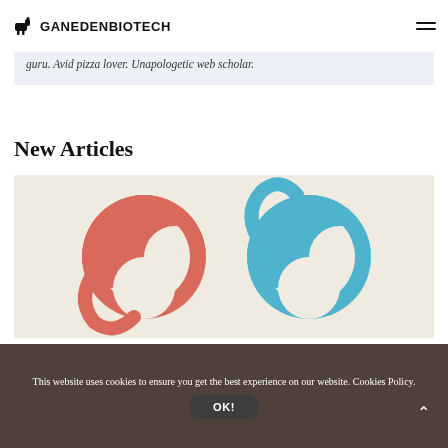GANEDENBIOTECH
guru. Avid pizza lover. Unapologetic web scholar.
New Articles
[Figure (illustration): Two circular logo-like shapes: a red/salmon colored yin-yang style circle and a blue textured yin-yang style circle, on a light beige background.]
This website uses cookies to ensure you get the best experience on our website. Cookies Policy.